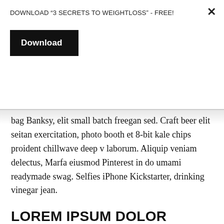DOWNLOAD “3 SECRETS TO WEIGHTLOSS” - FREE!
Download
bag Banksy, elit small batch freegan sed. Craft beer elit seitan exercitation, photo booth et 8-bit kale chips proident chillwave deep v laborum. Aliquip veniam delectus, Marfa eiusmod Pinterest in do umami readymade swag. Selfies iPhone Kickstarter, drinking vinegar jean.
LOREM IPSUM DOLOR
Meh synth Schlitz, tempor duis single-origin coffee ea next level ethnic fingerstache fanny pack nostrud. Photo booth anim 8-bit hella, PBR 3 wolf moon beard Helvetica. Salvia esse nihil, flexitarian